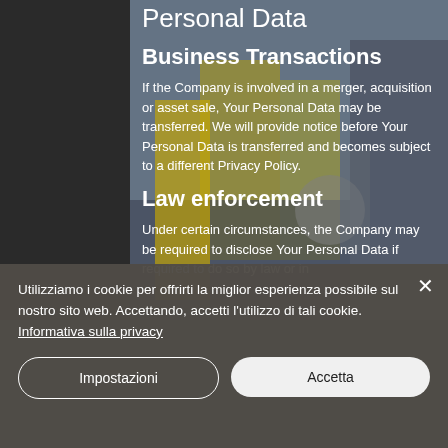Personal Data
Business Transactions
If the Company is involved in a merger, acquisition or asset sale, Your Personal Data may be transferred. We will provide notice before Your Personal Data is transferred and becomes subject to a different Privacy Policy.
Law enforcement
Under certain circumstances, the Company may be required to disclose Your Personal Data if required to do so by law or in
Utilizziamo i cookie per offrirti la miglior esperienza possibile sul nostro sito web. Accettando, accetti l'utilizzo di tali cookie. Informativa sulla privacy